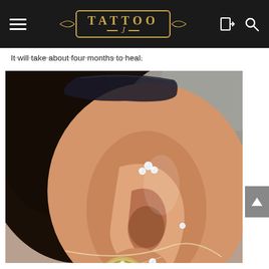TATTOO J (navigation header with hamburger menu, logo, login and search icons)
It will take about four months to heal.
[Figure (photo): Close-up photograph of a person's ear showing multiple piercings: a decorative triple crystal helix/cartilage piercing at the top, a small stud in the mid-helix area, a small stud in the lobe, and a large ornate diamond-encrusted plug/disc earring in the stretched lobe. The person has dark hair and appears to be wearing a grey hat.]